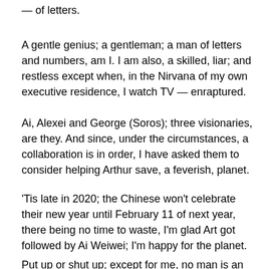— of letters.
A gentle genius; a gentleman; a man of letters and numbers, am I. I am also, a skilled, liar; and restless except when, in the Nirvana of my own executive residence, I watch TV — enraptured.
Ai, Alexei and George (Soros); three visionaries, are they. And since, under the circumstances, a collaboration is in order, I have asked them to consider helping Arthur save, a feverish, planet.
'Tis late in 2020; the Chinese won't celebrate their new year until February 11 of next year, there being no time to waste, I'm glad Art got followed by Ai Weiwei; I'm happy for the planet.
Put up or shut up; except for me, no man is an island, unto